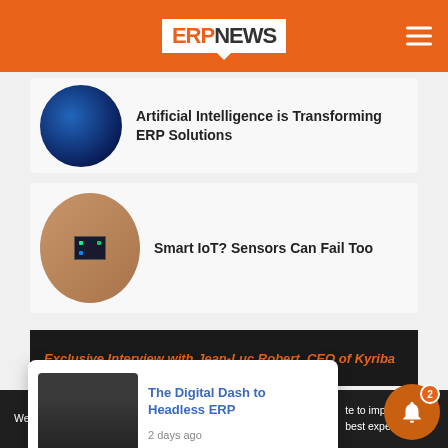ERP NEWS
Artificial Intelligence is Transforming ERP Solutions
Smart IoT? Sensors Can Fail Too
Exclusive Interview with Jean-Luc Robert, CEO of Kyriba
We anonymously measure your use of this website to improve your best experience on
The Digital Dash to Headless ERP
2 days ago